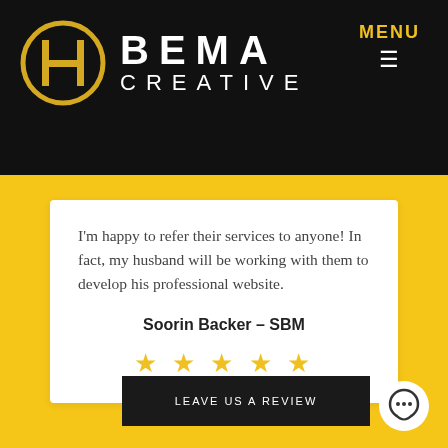[Figure (logo): BEMA Creative logo with a circular geometric icon in gold/yellow and white on black background, with MENU and hamburger icon top right]
I'm happy to refer their services to anyone! In fact, my husband will be working with them to develop his professional website.
Soorin Backer – SBM
[Figure (other): Five gold stars rating]
LEAVE US A REVIEW